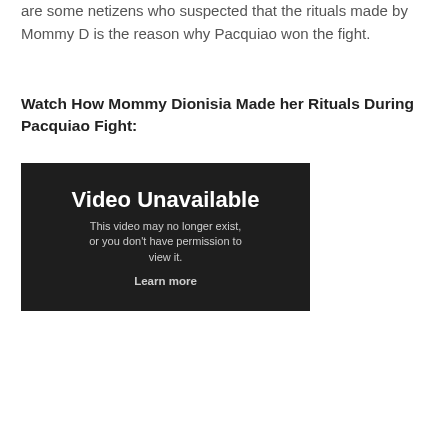are some netizens who suspected that the rituals made by Mommy D is the reason why Pacquiao won the fight.
Watch How Mommy Dionisia Made her Rituals During Pacquiao Fight:
[Figure (screenshot): Embedded video player showing 'Video Unavailable' message. Text reads: 'Video Unavailable. This video may no longer exist, or you don't have permission to view it. Learn more']